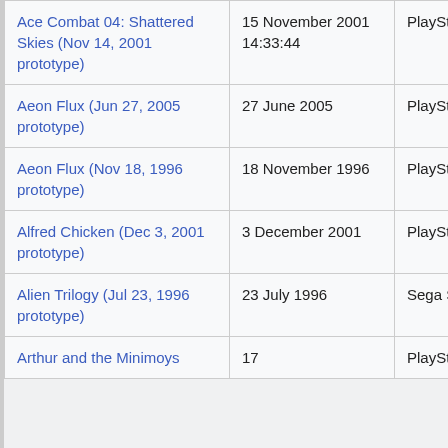| Title | Date | Platform |
| --- | --- | --- |
| Ace Combat 04: Shattered Skies (Nov 14, 2001 prototype) | 15 November 2001 14:33:44 | PlayStation 2 |
| Aeon Flux (Jun 27, 2005 prototype) | 27 June 2005 | PlayStation 2 |
| Aeon Flux (Nov 18, 1996 prototype) | 18 November 1996 | PlayStation |
| Alfred Chicken (Dec 3, 2001 prototype) | 3 December 2001 | PlayStation |
| Alien Trilogy (Jul 23, 1996 prototype) | 23 July 1996 | Sega Saturn |
| Arthur and the Minimoys | 17 | PlayStation |